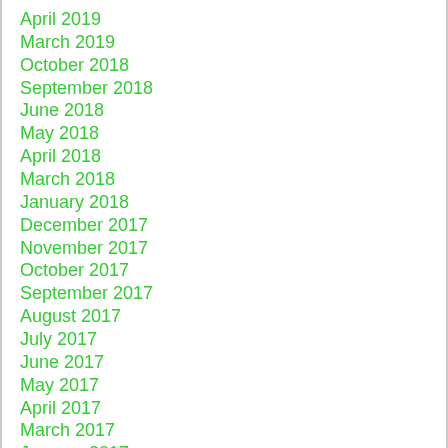April 2019
March 2019
October 2018
September 2018
June 2018
May 2018
April 2018
March 2018
January 2018
December 2017
November 2017
October 2017
September 2017
August 2017
July 2017
June 2017
May 2017
April 2017
March 2017
January 2017
November 2016